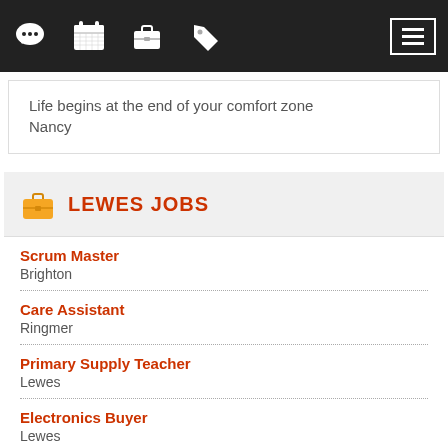Navigation bar with icons: chat, calendar, briefcase, tag, menu
Life begins at the end of your comfort zone
Nancy
LEWES JOBS
Scrum Master
Brighton
Care Assistant
Ringmer
Primary Supply Teacher
Lewes
Electronics Buyer
Lewes
INTERNAL SALES EXECUTIVE – AIR CONDITIONING/REFRIGERATION - NEWCASTLE